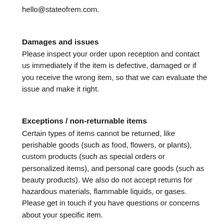hello@stateofrem.com.
Damages and issues
Please inspect your order upon reception and contact us immediately if the item is defective, damaged or if you receive the wrong item, so that we can evaluate the issue and make it right.
Exceptions / non-returnable items
Certain types of items cannot be returned, like perishable goods (such as food, flowers, or plants), custom products (such as special orders or personalized items), and personal care goods (such as beauty products). We also do not accept returns for hazardous materials, flammable liquids, or gases. Please get in touch if you have questions or concerns about your specific item.
Unfortunately, we cannot accept returns on personalised items, facemasks or scrunchies.